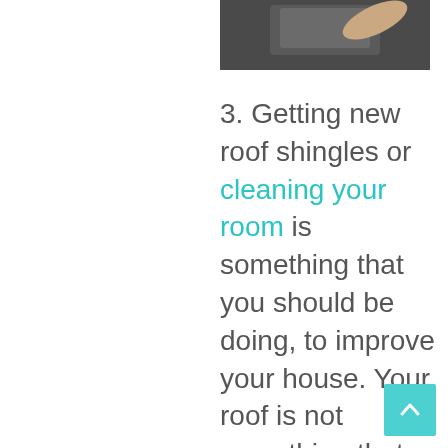[Figure (photo): Partial photo of a person's arm reaching over a surface, dark toned image cut off at top]
3. Getting new roof shingles or cleaning your room is something that you should be doing, to improve your house. Your roof is not something that you ignore for years and,